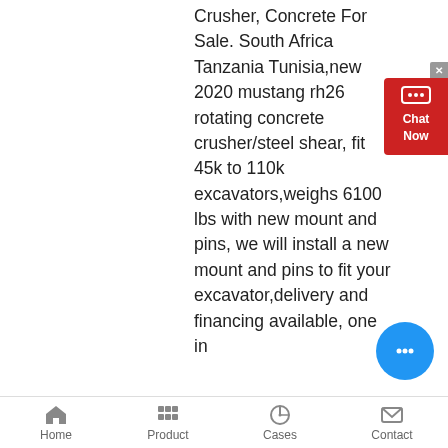Crusher, Concrete For Sale. South Africa Tanzania Tunisia,new 2020 mustang rh26 rotating concrete crusher/steel shear, fit 45k to 110k excavators,weighs 6100 lbs with new mount and pins, we will install a new mount and pins to fit your excavator,delivery and financing available, one in
[Figure (screenshot): Red 'Chat Now' popup widget in upper right corner with chat bubble icon and X close button]
[Figure (screenshot): Blue circular chat bubble button floating in the lower right area]
Home   Product   Cases   Contact